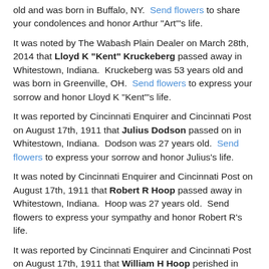old and was born in Buffalo, NY.  Send flowers to share your condolences and honor Arthur "Art"'s life.
It was noted by The Wabash Plain Dealer on March 28th, 2014 that Lloyd K "Kent" Kruckeberg passed away in Whitestown, Indiana.  Kruckeberg was 53 years old and was born in Greenville, OH.  Send flowers to express your sorrow and honor Lloyd K "Kent"'s life.
It was reported by Cincinnati Enquirer and Cincinnati Post on August 17th, 1911 that Julius Dodson passed on in Whitestown, Indiana.  Dodson was 27 years old.  Send flowers to express your sorrow and honor Julius's life.
It was noted by Cincinnati Enquirer and Cincinnati Post on August 17th, 1911 that Robert R Hoop passed away in Whitestown, Indiana.  Hoop was 27 years old.  Send flowers to express your sympathy and honor Robert R's life.
It was reported by Cincinnati Enquirer and Cincinnati Post on August 17th, 1911 that William H Hoop perished in Whitestown, Indiana.  Hoop was 68 years old.  Send flowers to express your sympathy and honor William H's life.